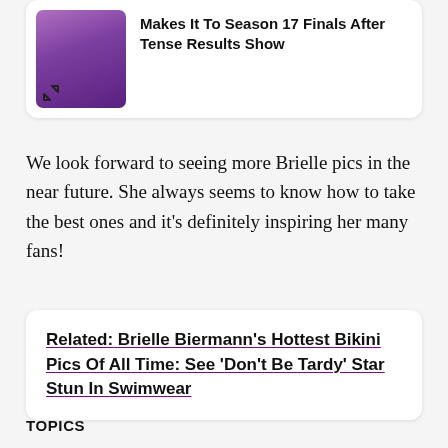[Figure (photo): Partial card at top showing a performer on stage with purple lighting background, with expand icon arrows at bottom left of image. Card title reads: Makes It To Season 17 Finals After Tense Results Show]
We look forward to seeing more Brielle pics in the near future. She always seems to know how to take the best ones and it's definitely inspiring her many fans!
Related: Brielle Biermann's Hottest Bikini Pics Of All Time: See 'Don't Be Tardy' Star Stun In Swimwear
TOPICS